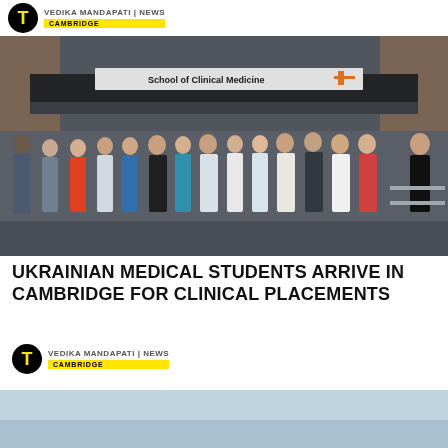VEDIKA MANDAPATI | NEWS CAMBRIDGE
[Figure (photo): Group photo of Ukrainian medical students and faculty standing in front of the School of Clinical Medicine building at Cambridge University]
UKRAINIAN MEDICAL STUDENTS ARRIVE IN CAMBRIDGE FOR CLINICAL PLACEMENTS
VEDIKA MANDAPATI | NEWS CAMBRIDGE
[Figure (photo): Partial photo of sky, bottom of page]